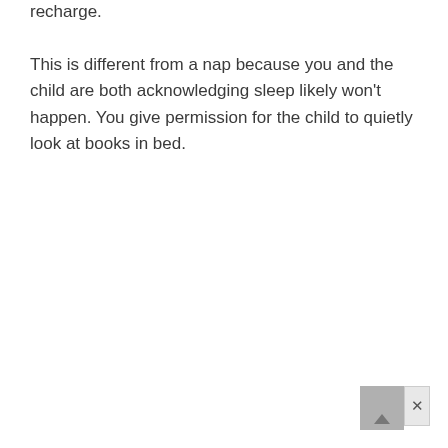recharge.
This is different from a nap because you and the child are both acknowledging sleep likely won't happen. You give permission for the child to quietly look at books in bed.